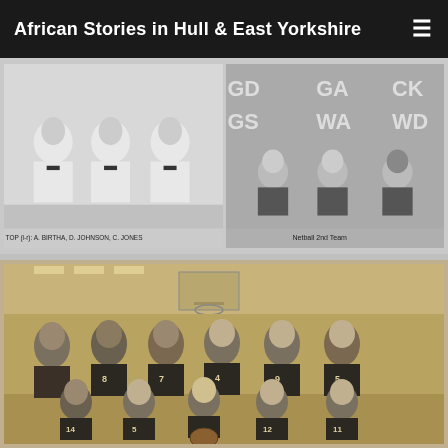African Stories in Hull & East Yorkshire
[Figure (photo): Black and white photograph of a karate team, three people kneeling in white karate uniforms with black belts. Caption reads: TOP (l-r): A. BIRTHA, D. JOHNSON, C. JONES]
[Figure (photo): Black and white photograph of a netball team, several players in sports uniforms. Caption reads: Netball 2nd Team]
[Figure (photo): Sepia/black and white photograph of a basketball team posed in a gymnasium. Standing row with players wearing numbered jerseys (8, 7, 4, 9, 5). Kneeling row with players wearing numbered jerseys (14, 5, 12, 11). Basketball hoop visible in background.]